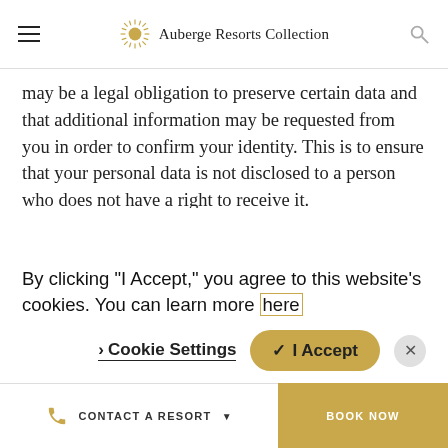Auberge Resorts Collection
may be a legal obligation to preserve certain data and that additional information may be requested from you in order to confirm your identity. This is to ensure that your personal data is not disclosed to a person who does not have a right to receive it.
EMAIL COMMUNICATIONS: You may choose to opt-out of receiving certain email communications by following the instructions in the email to unsubscribe.
TEXT MESSAGING: You may choose to opt-out of receiving text messaging from Auberge Resorts LLC or from the properties that are part of the Auberge Resorts Collection by contacting Auberge Resorts LLC, by notifying the front desk at the resort or
By clicking "I Accept," you agree to this website's cookies. You can learn more here
CONTACT A RESORT   BOOK NOW